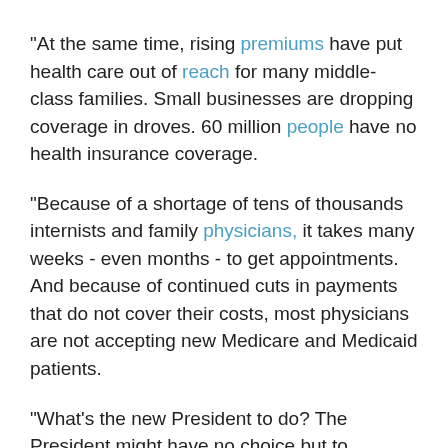"At the same time, rising premiums have put health care out of reach for many middle-class families. Small businesses are dropping coverage in droves. 60 million people have no health insurance coverage.
"Because of a shortage of tens of thousands internists and family physicians, it takes many weeks - even months - to get appointments. And because of continued cuts in payments that do not cover their costs, most physicians are not accepting new Medicare and Medicaid patients.
"What's the new President to do? The President might have no choice but to propose huge payroll tax increases, cuts in Medicare benefits and eligibility, and reduced payments to physicians and hospitals.